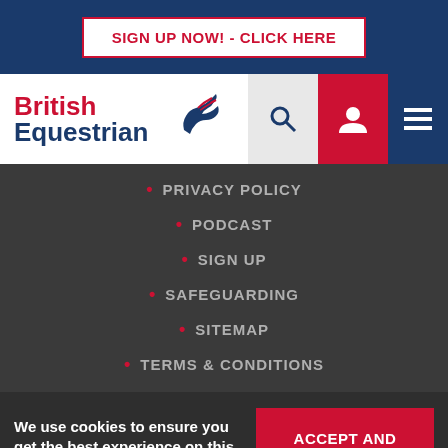SIGN UP NOW! - CLICK HERE
[Figure (logo): British Equestrian logo with horse silhouette and red/blue text]
PRIVACY POLICY
PODCAST
SIGN UP
SAFEGUARDING
SITEMAP
TERMS & CONDITIONS
We use cookies to ensure you get the best experience on this site.
ACCEPT AND CLOSE
PRIVACY POLICY